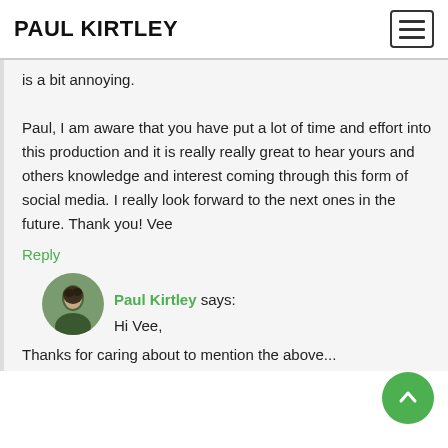PAUL KIRTLEY
is a bit annoying.
Paul, I am aware that you have put a lot of time and effort into this production and it is really really great to hear yours and others knowledge and interest coming through this form of social media. I really look forward to the next ones in the future. Thank you! Vee
Reply
Paul Kirtley says:
Hi Vee,
Thanks for caring about to mention the above...